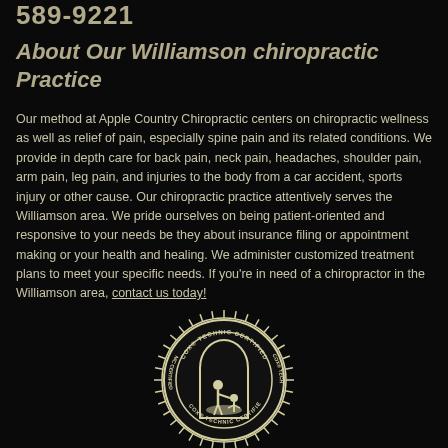589-9221
About Our Williamson chiropractic Practice
Our method at Apple Country Chiropractic centers on chiropractic wellness as well as relief of pain, especially spine pain and its related conditions. We provide in depth care for back pain, neck pain, headaches, shoulder pain, arm pain, leg pain, and injuries to the body from a car accident, sports injury or other cause. Our chiropractic practice attentively serves the Williamson area. We pride ourselves on being patient-oriented and responsive to your needs be they about insurance filing or appointment making or your health and healing. We administer customized treatment plans to meet your specific needs. If you're in need of a chiropractor in the Williamson area, contact us today!
[Figure (logo): Cox Technic Certified circular seal/badge logo with a chiropractor and patient figure in the center, surrounded by text reading COX TECHNIC CERTIFIED and NIC CERTIFIED, with a gear/sun-ray border]